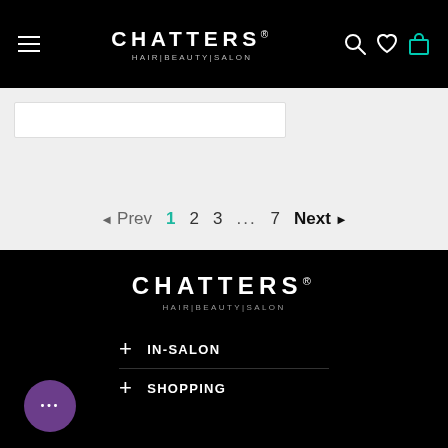CHATTERS. HAIR|BEAUTY|SALON
[Figure (screenshot): Search bar input field at top of product listing page]
◄ Prev  1  2  3  ...  7  Next ►
[Figure (logo): Chatters Hair Beauty Salon logo in white on black background]
+ IN-SALON
+ SHOPPING
[Figure (other): Purple chat bubble button with three dots]